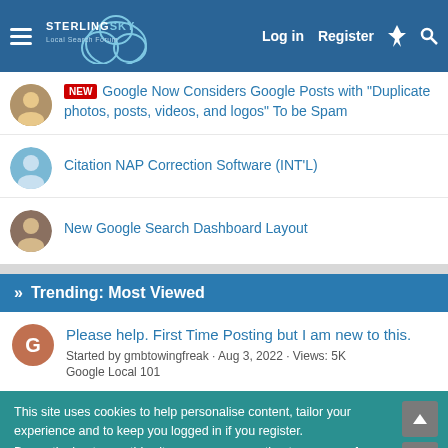Sterling Sky Local Search Forum — Log in | Register
NEW — Google Now Considers Google Posts with "Duplicate photos, posts, videos, and logos" To be Spam
Citation NAP Correction Software (INT'L)
New Google Search Dashboard Layout
» Trending: Most Viewed
Please help. First Time Posting but I am new to this.
Started by gmbtowingfreak · Aug 3, 2022 · Views: 5K
Google Local 101
This site uses cookies to help personalise content, tailor your experience and to keep you logged in if you register.
By continuing to use this site, you are consenting to our use of cookies.
✓ Accept
Learn more...